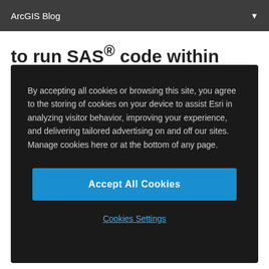ArcGIS Blog
to run SAS® code within ArcGIS Pro
The SAS®-ArcGIS Bridge also allows you to use
By accepting all cookies or browsing this site, you agree to the storing of cookies on your device to assist Esri in analyzing visitor behavior, improving your experience, and delivering tailored advertising on and off our sites. Manage cookies here or at the bottom of any page.
Accept All Cookies
Cookies Settings